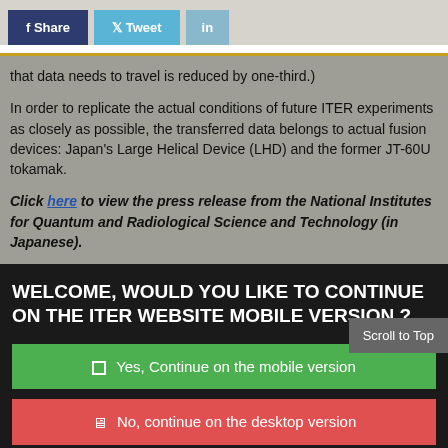[Figure (other): Social sharing buttons: Facebook Share (dark blue), Twitter Tweet (light blue), LinkedIn in (light blue-gray)]
that data needs to travel is reduced by one-third.)
In order to replicate the actual conditions of future ITER experiments as closely as possible, the transferred data belongs to actual fusion devices: Japan's Large Helical Device (LHD) and the former JT-60U tokamak.
Click here to view the press release from the National Institutes for Quantum and Radiological Science and Technology (in Japanese).
WELCOME, WOULD YOU LIKE TO CONTINUE ON THE ITER WEBSITE MOBILE VERSION ?
Yes, Continue on the mobile version
No, continue on the desktop version